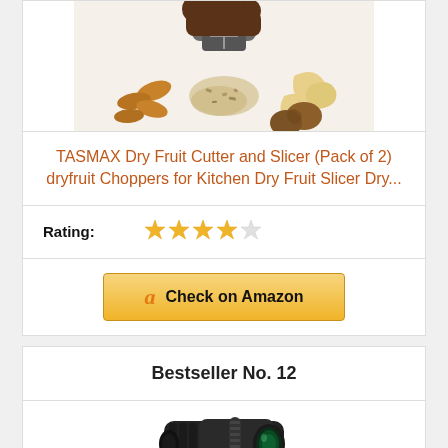[Figure (photo): A hand holding a dry fruit cutter/chopper device with various nuts scattered below including almonds, cashews, walnuts and crushed nuts on a white surface]
TASMAX Dry Fruit Cutter and Slicer (Pack of 2) dryfruit Choppers for Kitchen Dry Fruit Slicer Dry...
Rating: ★★★★☆
[Figure (other): Check on Amazon button with Amazon logo]
Bestseller No. 12
[Figure (photo): A black monocular/telescope device]